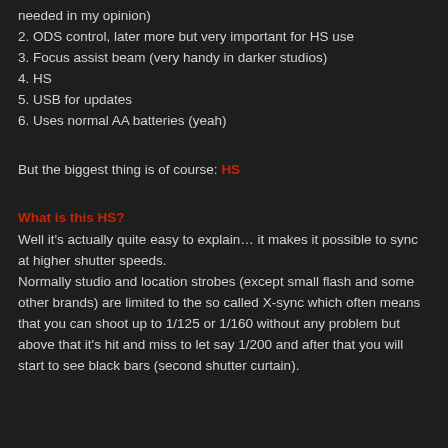needed in my opinion)
2. ODS control, later more but very important for HS use
3. Focus assist beam (very handy in darker studios)
4. HS
5. USB for updates
6. Uses normal AA batteries (yeah)
But the biggest thing is of course: HS
What is this HS?
Well it's actually quite easy to explain… it makes it possible to sync at higher shutter speeds.
Normally studio and location strobes (except small flash and some other brands) are limited to the so called X-sync which often means that you can shoot up to 1/125 or 1/160 without any problem but above that it's hit and miss to let say 1/200 and after that you will start to see black bars (second shutter curtain).